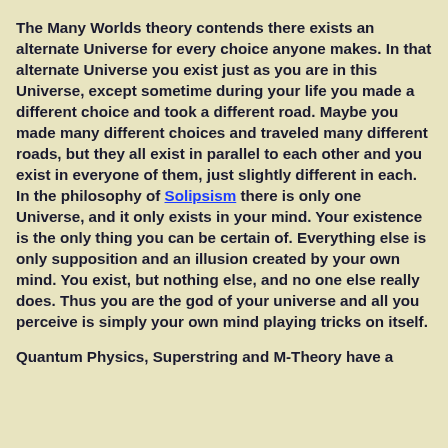The Many Worlds theory contends there exists an alternate Universe for every choice anyone makes. In that alternate Universe you exist just as you are in this Universe, except sometime during your life you made a different choice and took a different road. Maybe you made many different choices and traveled many different roads, but they all exist in parallel to each other and you exist in everyone of them, just slightly different in each.
In the philosophy of Solipsism there is only one Universe, and it only exists in your mind. Your existence is the only thing you can be certain of. Everything else is only supposition and an illusion created by your own mind. You exist, but nothing else, and no one else really does. Thus you are the god of your universe and all you perceive is simply your own mind playing tricks on itself.
Quantum Physics, Superstring and M-Theory have a